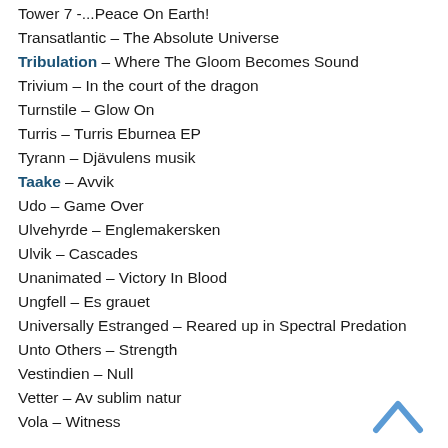Tower 7 -…Peace On Earth!
Transatlantic – The Absolute Universe
Tribulation – Where The Gloom Becomes Sound
Trivium – In the court of the dragon
Turnstile – Glow On
Turris – Turris Eburnea EP
Tyrann – Djävulens musik
Taake – Avvik
Udo – Game Over
Ulvehyrde – Englemakersken
Ulvik – Cascades
Unanimated – Victory In Blood
Ungfell – Es grauet
Universally Estranged – Reared up in Spectral Predation
Unto Others – Strength
Vestindien – Null
Vetter – Av sublim natur
Vola – Witness